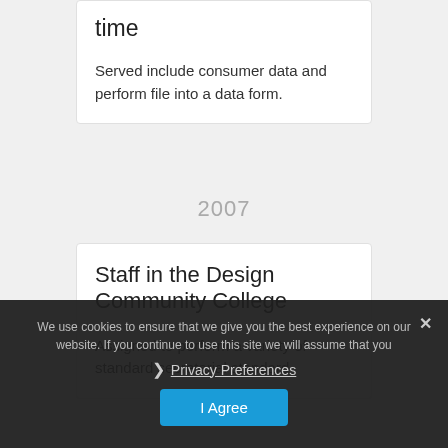time
Served include consumer data and perform file into a data form.
2007
Staff in the Design Community College
Assigned to perform a variety of standard secretarial standard
We use cookies to ensure that we give you the best experience on our website. If you continue to use this site we will assume that you
Privacy Preferences
I Agree